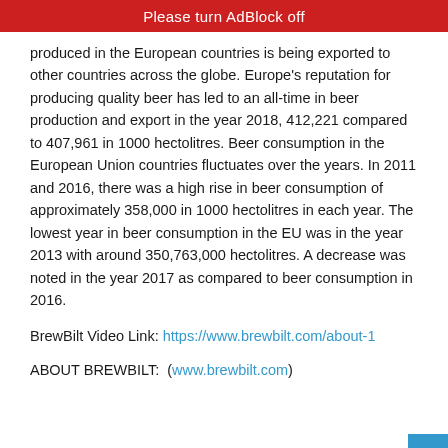Please turn AdBlock off
produced in the European countries is being exported to other countries across the globe. Europe's reputation for producing quality beer has led to an all-time in beer production and export in the year 2018, 412,221 compared to 407,961 in 1000 hectolitres. Beer consumption in the European Union countries fluctuates over the years. In 2011 and 2016, there was a high rise in beer consumption of approximately 358,000 in 1000 hectolitres in each year. The lowest year in beer consumption in the EU was in the year 2013 with around 350,763,000 hectolitres. A decrease was noted in the year 2017 as compared to beer consumption in 2016.
BrewBilt Video Link: https://www.brewbilt.com/about-1
ABOUT BREWBILT:  (www.brewbilt.com)